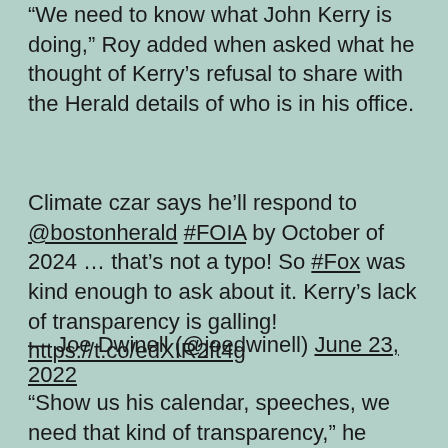“We need to know what John Kerry is doing,” Roy added when asked what he thought of Kerry’s refusal to share with the Herald details of who is in his office.
Climate czar says he’ll respond to @bostonherald #FOIA by October of 2024 … that’s not a typo! So #Fox was kind enough to ask about it. Kerry’s lack of transparency is galling! https://t.co/edXIR2ft4g
— Joe Dwinell (@joedwinell) June 23, 2022
“Show us his calendar, speeches, we need that kind of transparency,” he added, saying